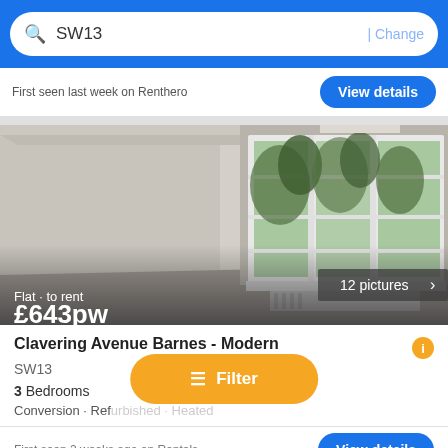SW13  | Change
First seen last week on Renthero
[Figure (photo): Interior room photo showing empty room with large white multi-pane windows letting in natural light, with trees visible outside. Text overlay shows '12 pictures' with arrow, and 'Flat · to rent £643pw' at bottom.]
Clavering Avenue Barnes - Modern
SW13
3 Bedrooms
Conversion · Refurbished · Heated
First seen 2 weeks ago on Rentals